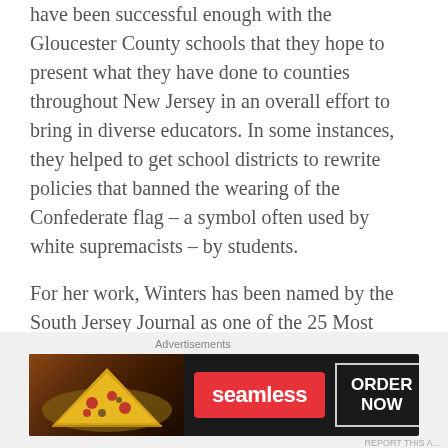have been successful enough with the Gloucester County schools that they hope to present what they have done to counties throughout New Jersey in an overall effort to bring in diverse educators. In some instances, they helped to get school districts to rewrite policies that banned the wearing of the Confederate flag – a symbol often used by white supremacists – by students.
For her work, Winters has been named by the South Jersey Journal as one of the 25 Most influential African-Americans in New Jersey in 2016 and 2017; and by the Gloucester County Times as one of the 10 Most Influential Minority Leaders. She received the Champion of Diversity
Advertisements
[Figure (screenshot): Seamless food delivery advertisement banner with pizza image on left, red Seamless logo in center, and ORDER NOW button on right against dark background]